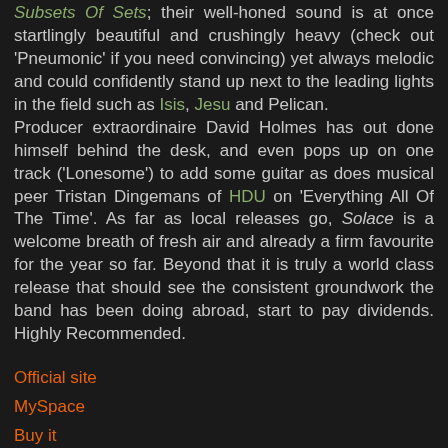Subsets Of Sets; their well-honed sound is at once startlingly beautiful and crushingly heavy (check out 'Pneumonic' if you need convincing) yet always melodic and could confidently stand up next to the leading lights in the field such as Isis, Jesu and Pelican. Producer extraordinaire David Holmes has out done himself behind the desk, and even pops up on one track ('Lonesome') to add some guitar as does musical peer Tristan Dingemans of HDU on 'Everything All Of The Time'. As far as local releases go, Solace is a welcome breath of fresh air and already a firm favourite for the year so far. Beyond that it is truly a world class release that should see the consistent groundwork the band has been doing abroad, start to pay dividends. Highly Recommended.
Official site
MySpace
Buy it
Buy it again!
MeTSam at 1:58 AM
Share